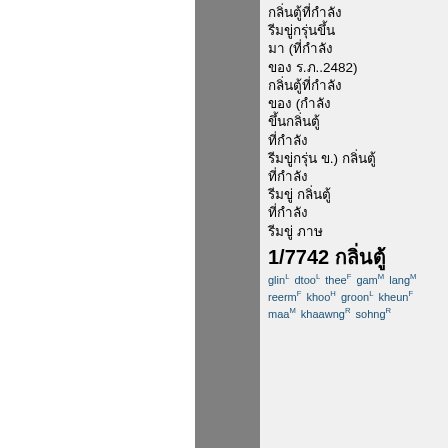Thai script legal text with reference number 1/7742 and phonetic romanization: glinL dtooL theeF gamM langM reermF khooH groonL kheunF maaM khaawngR sohngR